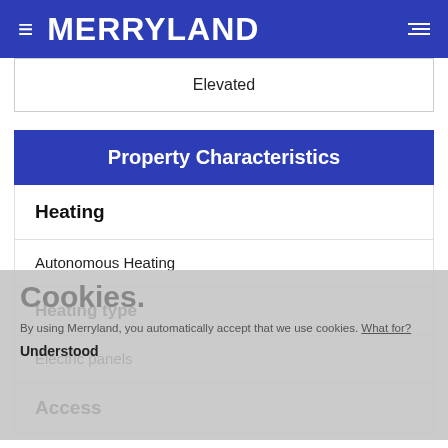MERRYLAND
| Elevated |
Property Characteristics
Heating
Autonomous Heating
Heating type
Electric panels
Access
Cookies. By using Merryland, you automatically accept that we use cookies. What for? Understood